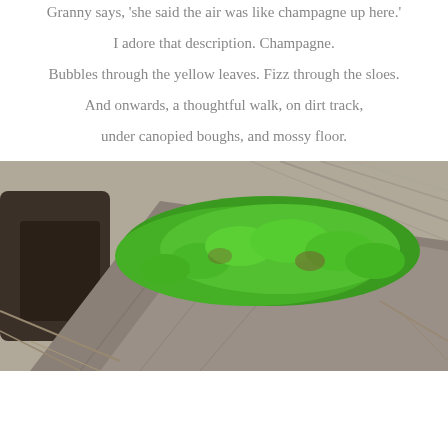Granny says, 'she said the air was like champagne up here.'
I adore that description. Champagne.
Bubbles through the yellow leaves. Fizz through the sloes.
And onwards, a thoughtful walk, on dirt track,
under canopied boughs, and mossy floor.
[Figure (photo): Close-up photograph of a mossy log or fallen tree trunk covered in bright green moss, surrounded by dry grey sticks and leaf litter on a forest floor.]